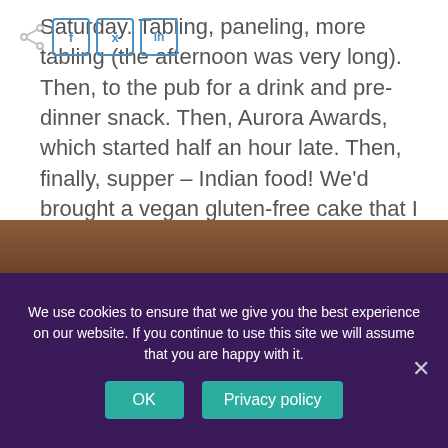Saturday. Tabling, paneling, more tabling (the afternoon was very long). Then, to the pub for a drink and pre-dinner snack. Then, Aurora Awards, which started half an hour late. Then, finally, supper – Indian food! We'd brought a vegan gluten-free cake that I made – Sam is vegan, I'm gluten-free – and the restaurant kindly put candles in it and served us. I think we were uncomfortably full after all of that.
[Figure (photo): Brown/warm-toned photo strip at the bottom of the article content area, partially obscured by the cookie consent banner.]
We use cookies to ensure that we give you the best experience on our website. If you continue to use this site we will assume that you are happy with it.